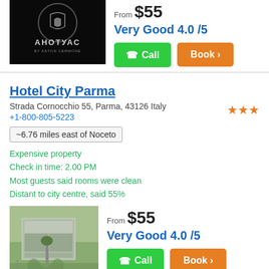[Figure (photo): Hotel logo image - dark background with АНОTУАС (Aston Cermone) logo]
From $55
Very Good 4.0 /5
Call
Book >
Hotel City Parma
Strada Cornocchio 55, Parma, 43126 Italy
+1-800-805-5223
~6.76 miles east of Noceto
Expensive property
Check in time: 2.00 PM
Most guests said rooms were clean
Distant to city centre, said 55%
[Figure (photo): Exterior photo of Hotel City Parma building with lawn and pathway]
From $55
Very Good 4.0 /5
Call
Book >
Best Western Plus Hotel P...